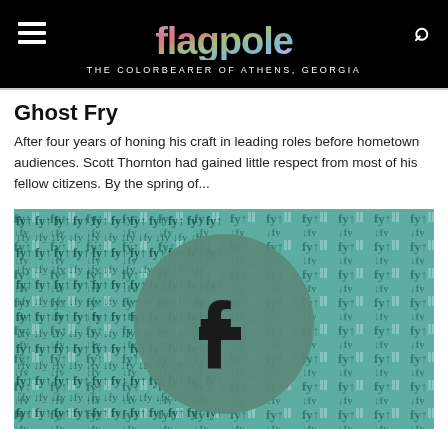flagpole — THE COLORBEARER OF ATHENS, GEORGIA
Ghost Fry
After four years of honing his craft in leading roles before hometown audiences. Scott Thornton had gained little respect from most of his fellow citizens. By the spring of...
[Figure (illustration): An illustrated image showing a teal/green patterned background with repeating stylized text characters, featuring a large muted green circle in the center containing a dark Facebook-style lowercase 'f' logo mark.]